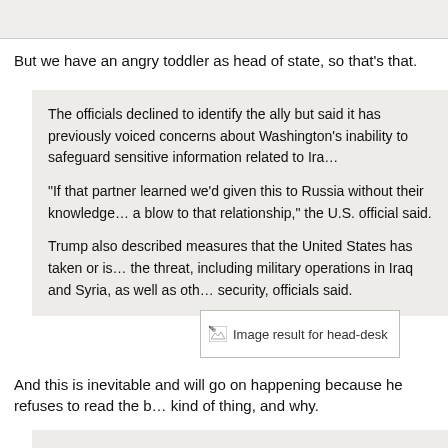But we have an angry toddler as head of state, so that’s that.
The officials declined to identify the ally but said it has previously voiced concerns about Washington’s inability to safeguard sensitive information related to Ira…

“If that partner learned we’d given this to Russia without their knowledge… a blow to that relationship,” the U.S. official said.

Trump also described measures that the United States has taken or is… the threat, including military operations in Iraq and Syria, as well as oth… security, officials said.
[Figure (other): Broken image placeholder labeled 'Image result for head-desk']
And this is inevitable and will go on happening because he refuses to read the b… kind of thing, and why.
Trump has repeatedly gone off-script in his dealings with high-ranking… notably in his contentious introductory conversation with the Australian…